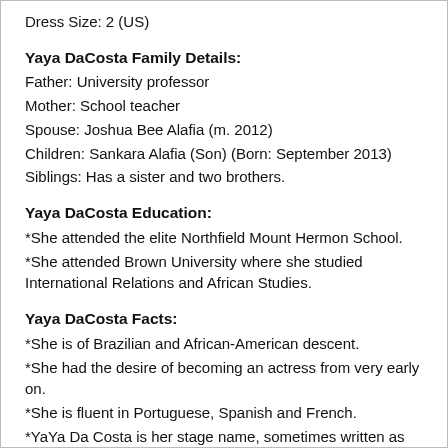Dress Size: 2 (US)
Yaya DaCosta Family Details:
Father: University professor
Mother: School teacher
Spouse: Joshua Bee Alafia (m. 2012)
Children: Sankara Alafia (Son) (Born: September 2013)
Siblings: Has a sister and two brothers.
Yaya DaCosta Education:
*She attended the elite Northfield Mount Hermon School.
*She attended Brown University where she studied International Relations and African Studies.
Yaya DaCosta Facts:
*She is of Brazilian and African-American descent.
*She had the desire of becoming an actress from very early on.
*She is fluent in Portuguese, Spanish and French.
*YaYa Da Costa is her stage name, sometimes written as Yaya Dacosta.